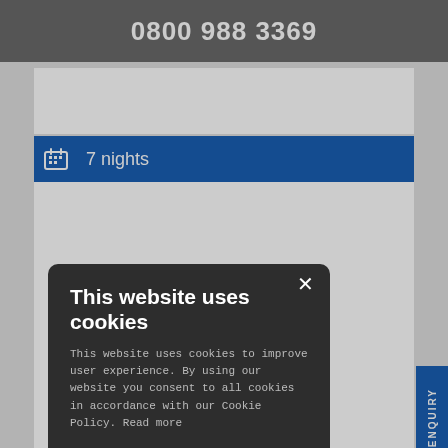0800 988 3369
7 nights
[Figure (screenshot): Cookie consent modal dialog on a travel website. Dark background overlay with modal containing title 'This website uses cookies', body text about cookie policy, checkboxes for PERFORMANCE and TARGETING, buttons ACCEPT ALL and DECLINE ALL, and SHOW DETAILS link. Behind the modal is a travel booking page showing '7 nights' in a blue bar, 'nice:' text, price from £636 Per person, and dates text. A QUICK ENQUIRY vertical tab is on the right edge.]
This website uses cookies
This website uses cookies to improve user experience. By using our website you consent to all cookies in accordance with our Cookie Policy. Read more
PERFORMANCE
TARGETING
ACCEPT ALL
DECLINE ALL
SHOW DETAILS
nice:
from £636
Per person
nt and dates.
QUICK ENQUIRY